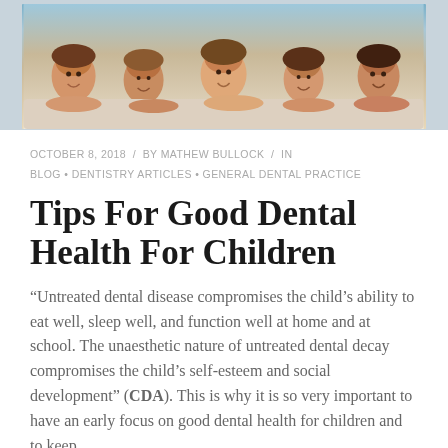[Figure (photo): Photo of a group of children lying down, smiling at the camera, cropped to show their faces and arms resting on a surface.]
OCTOBER 8, 2018 / BY MATHEW BULLOCK / IN BLOG • DENTISTRY ARTICLES • GENERAL DENTAL PRACTICE
Tips For Good Dental Health For Children
“Untreated dental disease compromises the child’s ability to eat well, sleep well, and function well at home and at school. The unaesthetic nature of untreated dental decay compromises the child’s self-esteem and social development” (CDA). This is why it is so very important to have an early focus on good dental health for children and to keep